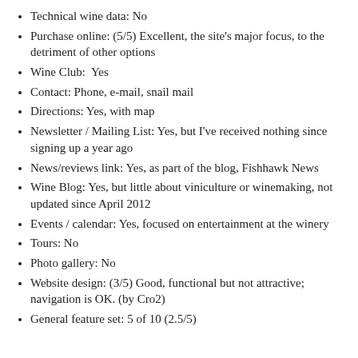Technical wine data: No
Purchase online: (5/5) Excellent, the site's major focus, to the detriment of other options
Wine Club:  Yes
Contact: Phone, e-mail, snail mail
Directions: Yes, with map
Newsletter / Mailing List: Yes, but I've received nothing since signing up a year ago
News/reviews link: Yes, as part of the blog, Fishhawk News
Wine Blog: Yes, but little about viniculture or winemaking, not updated since April 2012
Events / calendar: Yes, focused on entertainment at the winery
Tours: No
Photo gallery: No
Website design: (3/5) Good, functional but not attractive; navigation is OK. (by Cro2)
General feature set: 5 of 10 (2.5/5)